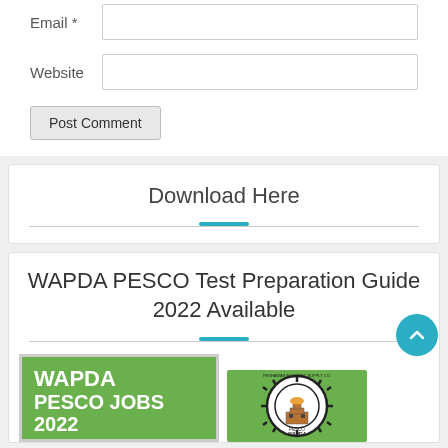Email *
Website
Post Comment
Download Here
WAPDA PESCO Test Preparation Guide 2022 Available
[Figure (illustration): WAPDA PESCO JOBS 2022 green banner image on the left, and PESCO (Peshawar Electric Supply Company) circular logo on the right]